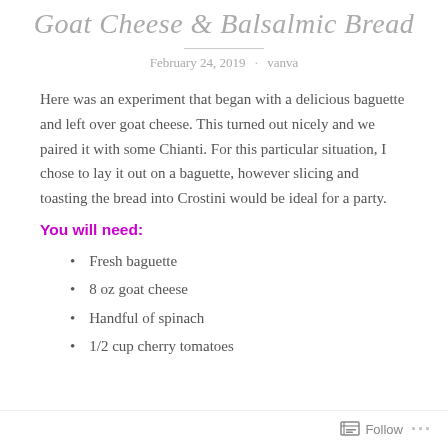Goat Cheese & Balsalmic Bread
February 24, 2019 · vanva
Here was an experiment that began with a delicious baguette and left over goat cheese. This turned out nicely and we paired it with some Chianti. For this particular situation, I chose to lay it out on a baguette, however slicing and toasting the bread into Crostini would be ideal for a party.
You will need:
Fresh baguette
8 oz goat cheese
Handful of spinach
1/2 cup cherry tomatoes